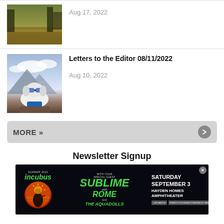[Figure (photo): Lake/river landscape photo with autumn trees and calm water]
Aug 17, 2022
[Figure (photo): White fluffy dog wearing goggles lying on a rock with mountain landscape behind]
Letters to the Editor 08/11/2022
Aug 10, 2022
MORE »
Newsletter Signup
[Figure (photo): Advertisement banner for Incubus and Sublime with Rome summer 2022 concert on Saturday September 3 at Hayden Homes Amphitheater]